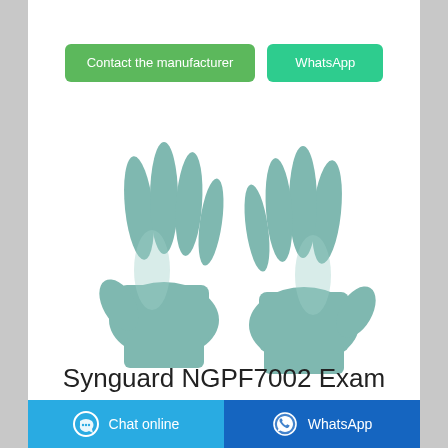[Figure (other): Two buttons: 'Contact the manufacturer' (green) and 'WhatsApp' (teal/green)]
[Figure (photo): Two blue-grey nitrile examination gloves displayed palm-up side by side on white background]
Synguard NGPF7002 Exam
[Figure (other): Page footer with two buttons: 'Chat online' (light blue) and 'WhatsApp' (dark blue)]